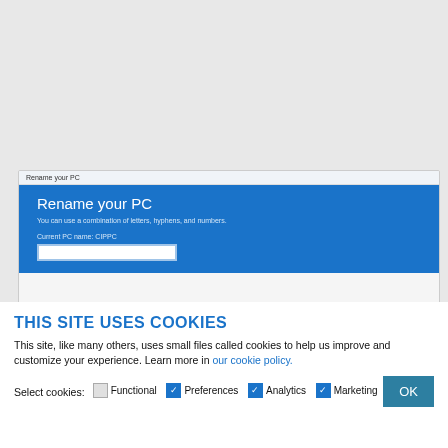[Figure (screenshot): Windows 'Rename your PC' dialog screenshot showing a blue panel with title 'Rename your PC', subtitle 'You can use a combination of letters, hyphens, and numbers.', a label 'Current PC name: CIPPC', and a text input field.]
THIS SITE USES COOKIES
This site, like many others, uses small files called cookies to help us improve and customize your experience. Learn more in our cookie policy.
Select cookies:  Functional  Preferences  Analytics  Marketing  OK